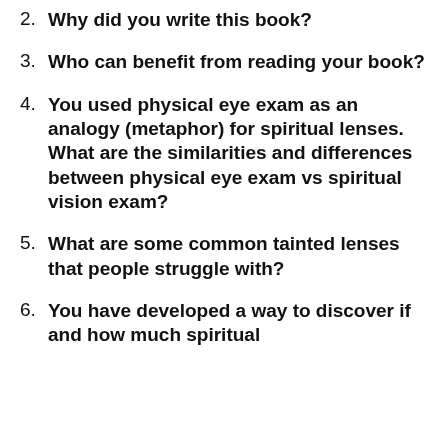2. Why did you write this book?
3. Who can benefit from reading your book?
4. You used physical eye exam as an analogy (metaphor) for spiritual lenses. What are the similarities and differences between physical eye exam vs spiritual vision exam?
5. What are some common tainted lenses that people struggle with?
6. You have developed a way to discover if and how much spiritual